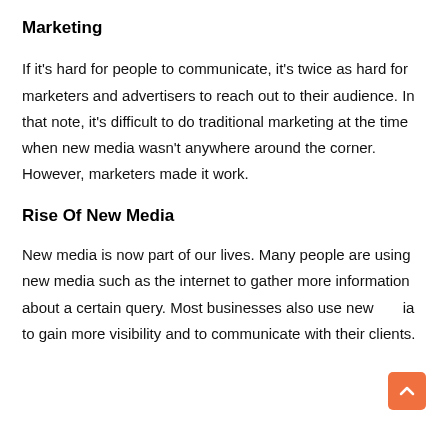Marketing
If it's hard for people to communicate, it's twice as hard for marketers and advertisers to reach out to their audience. In that note, it's difficult to do traditional marketing at the time when new media wasn't anywhere around the corner. However, marketers made it work.
Rise Of New Media
New media is now part of our lives. Many people are using new media such as the internet to gather more information about a certain query. Most businesses also use new media to gain more visibility and to communicate with their clients.